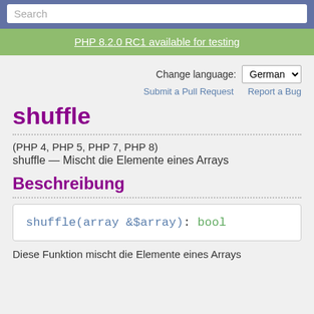Search
PHP 8.2.0 RC1 available for testing
Change language: German
Submit a Pull Request   Report a Bug
shuffle
(PHP 4, PHP 5, PHP 7, PHP 8)
shuffle — Mischt die Elemente eines Arrays
Beschreibung
Diese Funktion mischt die Elemente eines Arrays